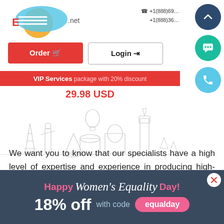[Figure (logo): Website logo with stylized rocket/comet icon and domain text ending in .net]
+1(888)69... +1(888)36...
[Figure (infographic): Scroll-up circular button (dark blue), Chat circular button (teal), Phone circular button (light blue)]
Order 🛒
Login →
[Figure (infographic): VIP Services package with 20% discount banner in red, price 29.98 USD, with world landmark illustrations]
We want you to know that our specialists have a high level of expertise and experience in producing high-quality academic papers. Thus, if you think that your paper should be double-checked for its
[Figure (infographic): Happy Women's Equality Day! 18% off with code equalday promotional banner on dark blue background]